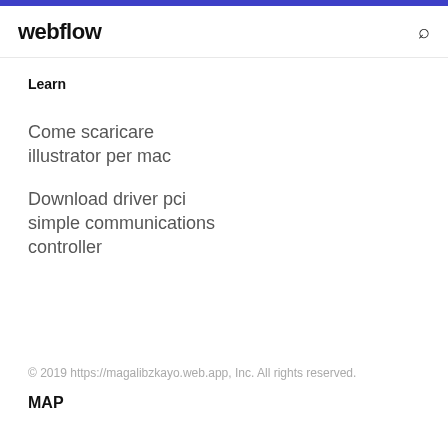webflow
Learn
Come scaricare illustrator per mac
Download driver pci simple communications controller
© 2019 https://magalibzkayo.web.app, Inc. All rights reserved.
MAP